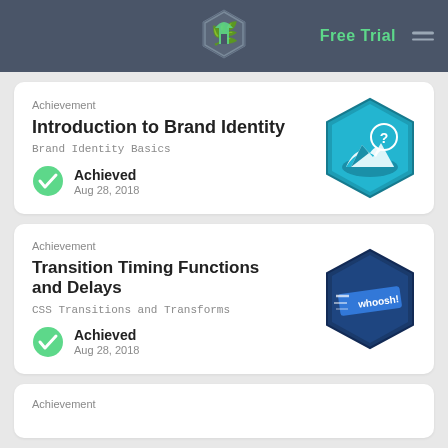Free Trial
Achievement
Introduction to Brand Identity
Brand Identity Basics
Achieved
Aug 28, 2018
[Figure (illustration): Teal hexagonal badge with brand identity icon showing a landscape with question mark]
Achievement
Transition Timing Functions and Delays
CSS Transitions and Transforms
Achieved
Aug 28, 2018
[Figure (illustration): Dark blue hexagonal badge with whoosh animation CSS transitions icon]
Achievement